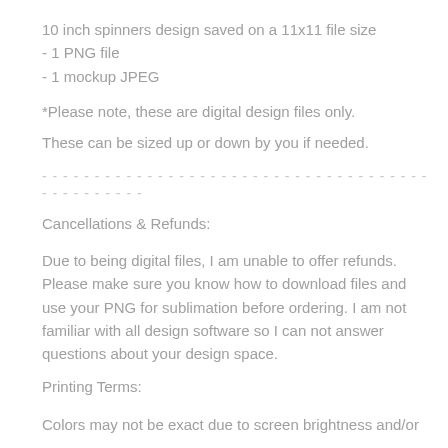10 inch spinners design saved on a 11x11 file size
- 1 PNG file
- 1 mockup JPEG
*Please note, these are digital design files only.
These can be sized up or down by you if needed.
------------------------------------------------
Cancellations & Refunds:
Due to being digital files, I am unable to offer refunds. Please make sure you know how to download files and use your PNG for sublimation before ordering. I am not familiar with all design software so I can not answer questions about your design space.
Printing Terms:
Colors may not be exact due to screen brightness and/or